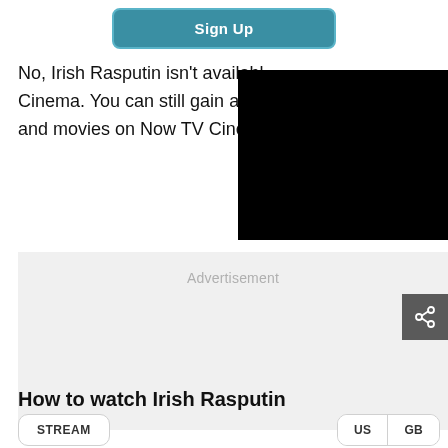[Figure (other): Sign Up button (teal/blue-green rounded rectangle with white bold text)]
No, Irish Rasputin isn't available on Now TV Cinema. You can still gain access to all the shows and movies on Now TV Cinema
[Figure (other): Black rectangle covering right portion of text block]
[Figure (other): Advertisement placeholder block (light gray background with 'Advertisement' text)]
[Figure (other): Share button (dark gray square with share icon)]
How to watch Irish Rasputin
[Figure (other): STREAM button and US/GB region toggle buttons]